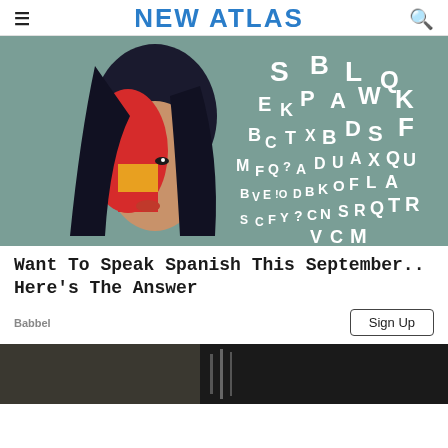NEW ATLAS
[Figure (photo): Woman with Spanish flag colors painted on her face, surrounded by floating alphabet letters, promoting Babbel Spanish language learning]
Want To Speak Spanish This September.. Here's The Answer
Babbel
[Figure (photo): Partial view of a second advertisement image, dark/interior scene, cropped at the bottom of the page]